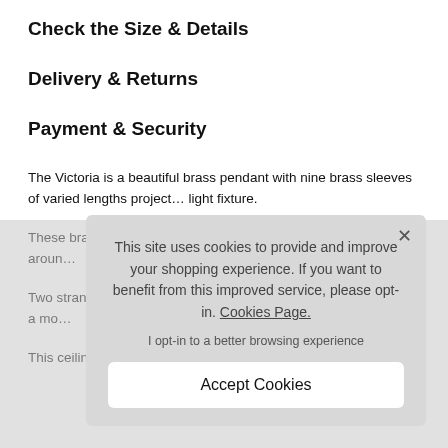Check the Size & Details
Delivery & Returns
Payment & Security
The Victoria is a beautiful brass pendant with nine brass sleeves of varied lengths project… light fixture.
These brass sleeves… fascinating shadows b… circular pattern aroun…
Two strands of catena… suspend the Victoria … mood lighting in a mo…
This ceiling pendant's… ensure the perfect ha…
[Figure (screenshot): Cookie consent modal dialog with text: 'This site uses cookies to provide and improve your shopping experience. If you want to benefit from this improved service, please opt-in. Cookies Page.' with opt-in link text and 'Accept Cookies' button.]